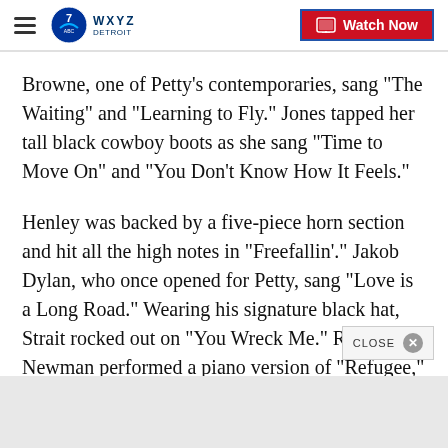WXYZ Detroit — Watch Now
Browne, one of Petty's contemporaries, sang "The Waiting" and "Learning to Fly." Jones tapped her tall black cowboy boots as she sang "Time to Move On" and "You Don't Know How It Feels."
Henley was backed by a five-piece horn section and hit all the high notes in "Freefallin'." Jakob Dylan, who once opened for Petty, sang "Love is a Long Road." Wearing his signature black hat, Strait rocked out on "You Wreck Me." Randy Newman performed a piano version of "Refugee," and the Head and the Heart